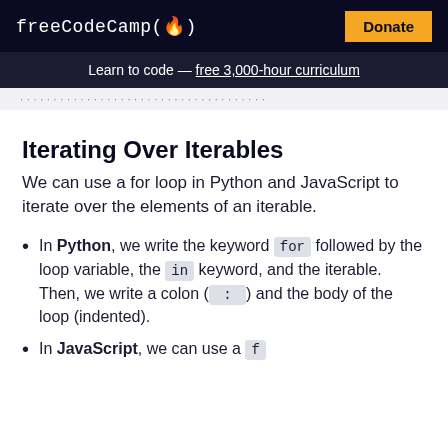freeCodeCamp(🔥)  Donate
Learn to code — free 3,000-hour curriculum
…partial page navigation text…
Iterating Over Iterables
We can use a for loop in Python and JavaScript to iterate over the elements of an iterable.
In Python, we write the keyword for followed by the loop variable, the in keyword, and the iterable. Then, we write a colon (:) and the body of the loop (indented).
In JavaScript, we can use a for…